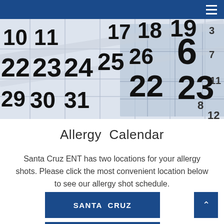[Figure (photo): Close-up photo of overlapping calendar pages showing numbers 10, 11, 17, 18, 19, 22, 23, 24, 25, 26, 29, 30, 31, 3, 6, 7, 8, 11, 12, 22, 23 in large black text on white and blue-grey calendar grid]
Allergy Calendar
Santa Cruz ENT has two locations for your allergy shots. Please click the most convenient location below to see our allergy shot schedule.
SANTA CRUZ
FREEDOM